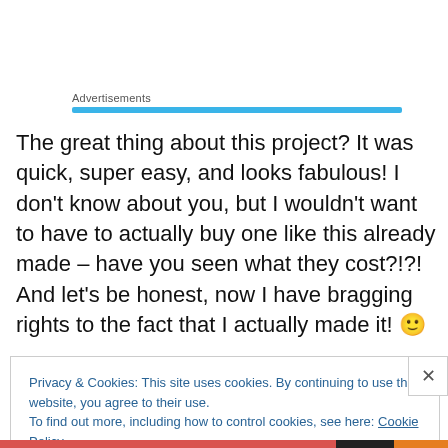Advertisements
The great thing about this project? It was quick, super easy, and looks fabulous! I don’t know about you, but I wouldn’t want to have to actually buy one like this already made – have you seen what they cost?!?! And let’s be honest, now I have bragging rights to the fact that I actually made it! 🙂
Privacy & Cookies: This site uses cookies. By continuing to use this website, you agree to their use.
To find out more, including how to control cookies, see here: Cookie Policy